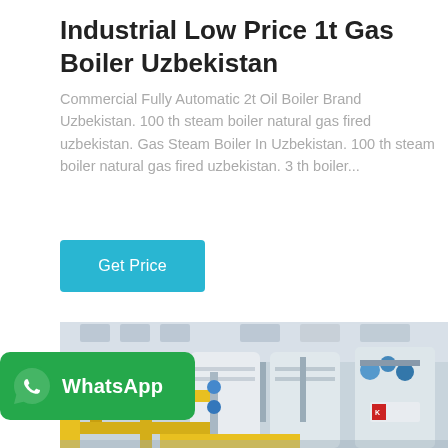Industrial Low Price 1t Gas Boiler Uzbekistan
Commercial Fully Automatic 2t Oil Boiler Brand Uzbekistan. 100 th steam boiler natural gas fired uzbekistan. Gas Steam Boiler In Uzbekistan. 100 th steam boiler natural gas fired uzbekistan. 3 th boiler...
[Figure (illustration): Button labeled 'Get Price' with teal/cyan background]
[Figure (photo): Industrial boiler facility showing yellow pipes, industrial equipment, valves, and Chinese manufacturer branding on white cylindrical boilers]
[Figure (logo): WhatsApp badge with green background, WhatsApp phone icon and text 'WhatsApp']